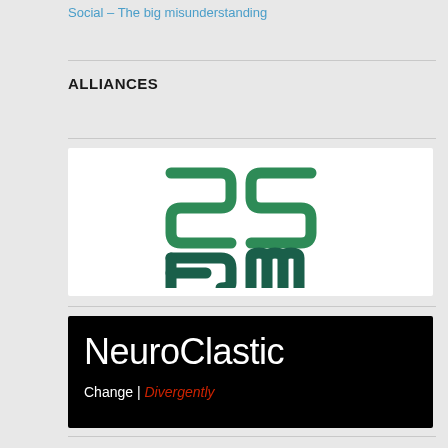Social – The big misunderstanding
ALLIANCES
[Figure (logo): S23M logo — stylized green letterforms arranged in a 2x2 grid: top-left S, top-right mirrored 2, bottom-left 3/E, bottom-right m, in two shades of green]
[Figure (logo): NeuroClastic logo — white sans-serif text 'NeuroClastic' on black background with tagline 'Change | Divergently' where 'Divergently' is in red italic]